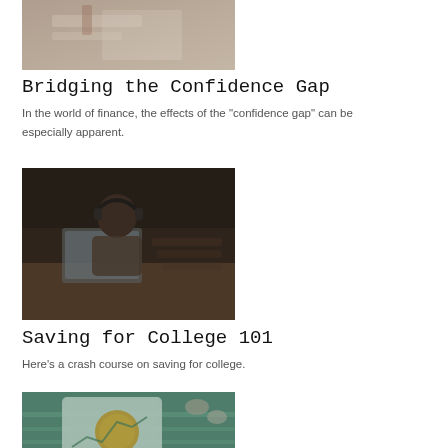[Figure (photo): Hands working with papers/documents on a desk, overhead view]
Bridging the Confidence Gap
In the world of finance, the effects of the "confidence gap" can be especially apparent.
[Figure (photo): Young man with headphones working on a laptop in a lecture hall or library]
Saving for College 101
Here's a crash course on saving for college.
[Figure (photo): Tablet or device showing a chart/graph with a gold coin or medallion, near a pool or water]